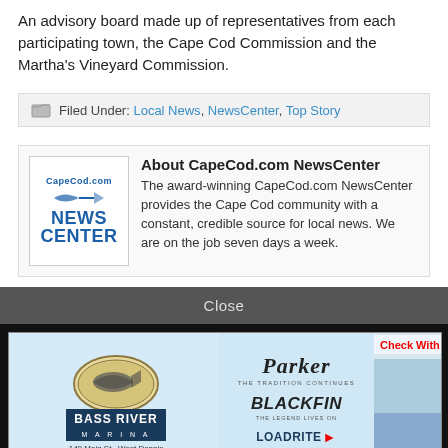An advisory board made up of representatives from each participating town, the Cape Cod Commission and the Martha's Vineyard Commission.
Filed Under: Local News, NewsCenter, Top Story
About CapeCod.com NewsCenter The award-winning CapeCod.com NewsCenter provides the Cape Cod community with a constant, credible source for local news. We are on the job seven days a week.
Close
[Figure (advertisement): Bass River Marina advertisement featuring Parker, Blackfin, and LoadRite brands with a boat image. Text: Check With Us Before You Buy! Learn More. 140 Main St., West Dennis]